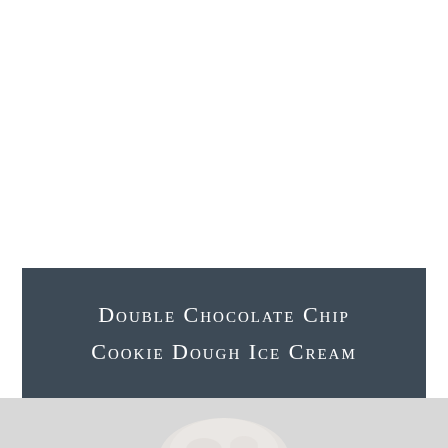[Figure (photo): White background upper portion of the page, with a dark slate-blue banner containing the title text 'Double Chocolate Chip Cookie Dough Ice Cream' in white small-caps serif font, and a light gray area at the bottom showing the top of an ice cream scoop.]
Double Chocolate Chip Cookie Dough Ice Cream